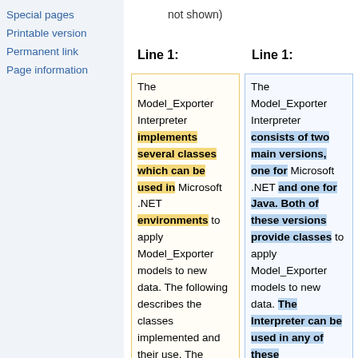Special pages
Printable version
Permanent link
Page information
not shown)
Line 1:
Line 1:
The Model_Exporter Interpreter implements several classes which can be used in Microsoft .NET environments to apply Model_Exporter models to new data. The following describes the classes implemented and their use. The classes include
The Model_Exporter Interpreter consists of two main versions, one for Microsoft .NET and one for Java. Both of these versions provide classes to apply Model_Exporter models to new data. The Interpreter can be used in any of these environments